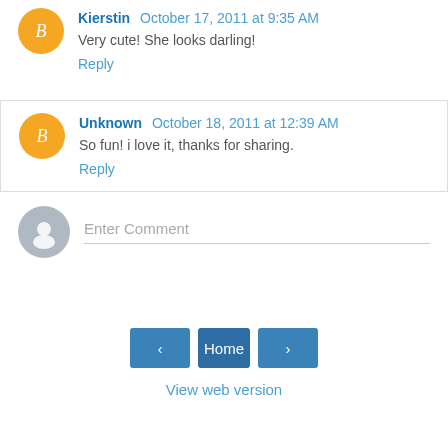Kierstin October 17, 2011 at 9:35 AM
Very cute! She looks darling!
Reply
Unknown October 18, 2011 at 12:39 AM
So fun! i love it, thanks for sharing.
Reply
Enter Comment
Home
View web version